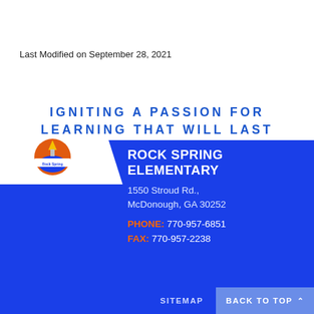Last Modified on September 28, 2021
IGNITING A PASSION FOR LEARNING THAT WILL LAST A LIFETIME!
[Figure (logo): Rock Spring Elementary school circular logo with orange/red torch and blue background, white banner with school name]
ROCK SPRING ELEMENTARY
1550 Stroud Rd., McDonough, GA 30252
PHONE: 770-957-6851
FAX: 770-957-2238
SITEMAP   BACK TO TOP ^